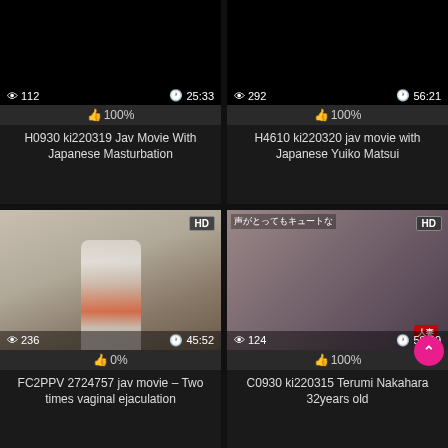[Figure (screenshot): Top-left video thumbnail, black screen, views: 112, duration: 25:33, rating: 100%]
H0930 ki220319 Jav Movie With Japanese Masturbation
[Figure (screenshot): Top-right video thumbnail, black screen, views: 292, duration: 56:21, rating: 100%]
H4610 ki220320 jav movie with Japanese Yuiko Matsui
[Figure (photo): Bottom-left video thumbnail, woman in white outfit with blindfold, HD badge, views: 236, duration: 45:52, rating: 0%]
FC2PPV 2724757 jav movie – Two times vaginal ejaculation
[Figure (photo): Bottom-right video thumbnail, Japanese woman with short hair, HD badge, views: 124, duration: 58:29, rating: 100%]
C0930 ki220315 Terumi Nakahara 32years old